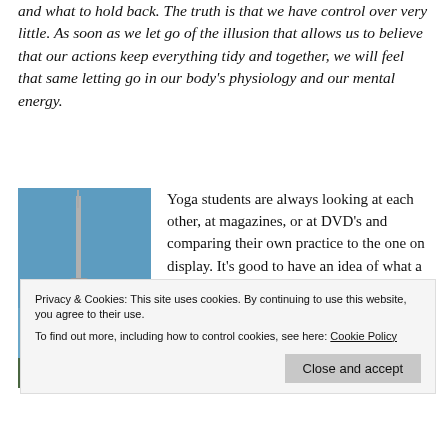and what to hold back. The truth is that we have control over very little. As soon as we let go of the illusion that allows us to believe that our actions keep everything tidy and together, we will feel that same letting go in our body's physiology and our mental energy.
[Figure (photo): Photo of the CN Tower with flags in the foreground against a blue sky]
Yoga students are always looking at each other, at magazines, or at DVD's and comparing their own practice to the one on display. It's good to have an idea of what a posture or sequence can look like, but it's also important to recognize that the
Privacy & Cookies: This site uses cookies. By continuing to use this website, you agree to their use.
To find out more, including how to control cookies, see here: Cookie Policy